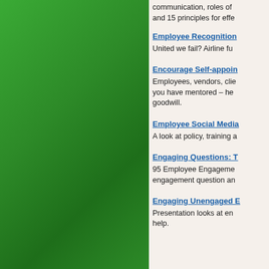[Figure (illustration): Green gradient decorative panel on the left side of the page]
communication, roles of and 15 principles for effe
Employee Recognition
United we fail? Airline fu
Encourage Self-appoin
Employees, vendors, clie you have mentored – he goodwill.
Employee Social Media
A look at policy, training a
Engaging Questions: T
95 Employee Engageme engagement question an
Engaging Unengaged E
Presentation looks at en help.